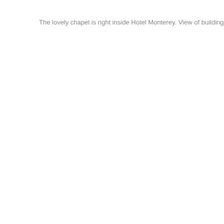The lovely chapel is right inside Hotel Monterey. View of buildings fron